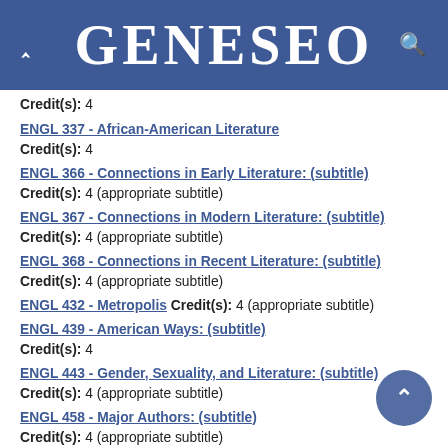GENESEO
Credit(s): 4
ENGL 337 - African-American Literature Credit(s): 4
ENGL 366 - Connections in Early Literature: (subtitle) Credit(s): 4 (appropriate subtitle)
ENGL 367 - Connections in Modern Literature: (subtitle) Credit(s): 4 (appropriate subtitle)
ENGL 368 - Connections in Recent Literature: (subtitle) Credit(s): 4 (appropriate subtitle)
ENGL 432 - Metropolis Credit(s): 4 (appropriate subtitle)
ENGL 439 - American Ways: (subtitle) Credit(s): 4
ENGL 443 - Gender, Sexuality, and Literature: (subtitle) Credit(s): 4 (appropriate subtitle)
ENGL 458 - Major Authors: (subtitle) Credit(s): 4 (appropriate subtitle)